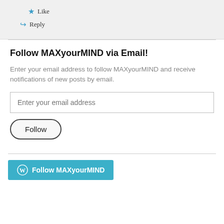★ Like
↪ Reply
Follow MAXyourMIND via Email!
Enter your email address to follow MAXyourMIND and receive notifications of new posts by email.
Enter your email address
Follow
Follow MAXyourMIND